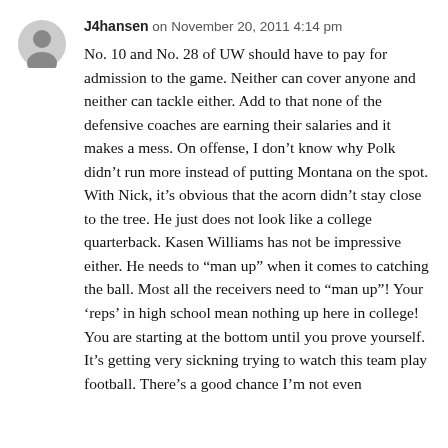J4hansen on November 20, 2011 4:14 pm
No. 10 and No. 28 of UW should have to pay for admission to the game.  Neither can cover anyone and neither can tackle either.  Add to that none of the defensive coaches are earning their salaries and it makes a mess.  On offense, I don't know why Polk didn't run more instead of putting Montana on the spot.  With Nick, it's obvious that the acorn didn't stay close to the tree.  He just does not look like a college quarterback.  Kasen Williams has not be impressive either.  He needs to “man up” when it comes to catching the ball.  Most all the receivers need to “man up”!  Your ‘reps’ in high school mean nothing up here in college!  You are starting at the bottom until you prove yourself.  It's getting very sickning trying to watch this team play football.  There’s a good chance I’m not even